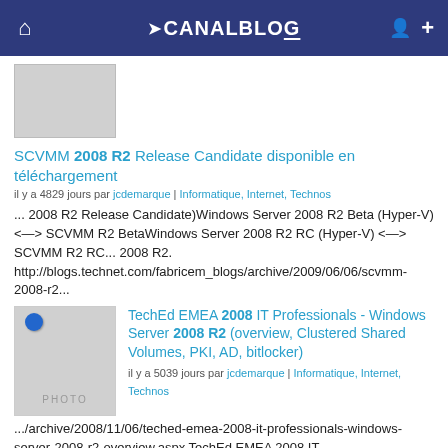CANALBLOG
[Figure (photo): Placeholder image thumbnail, light gray rectangle]
SCVMM 2008 R2 Release Candidate disponible en téléchargement
il y a 4829 jours par jcdemarque | Informatique, Internet, Technos
... 2008 R2 Release Candidate)Windows Server 2008 R2 Beta (Hyper-V) <—> SCVMM R2 BetaWindows Server 2008 R2 RC (Hyper-V) <—> SCVMM R2 RC... 2008 R2. http://blogs.technet.com/fabricem_blogs/archive/2009/06/06/scvmm-2008-r2...
[Figure (photo): Placeholder image with PHOTO label and blue pin/tack]
TechEd EMEA 2008 IT Professionals - Windows Server 2008 R2 (overview, Clustered Shared Volumes, PKI, AD, bitlocker)
il y a 5039 jours par jcdemarque | Informatique, Internet, Technos
.../archive/2008/11/06/teched-emea-2008-it-professionals-windows-server-2008-r2-overview.aspx TechEd EMEA 2008 IT